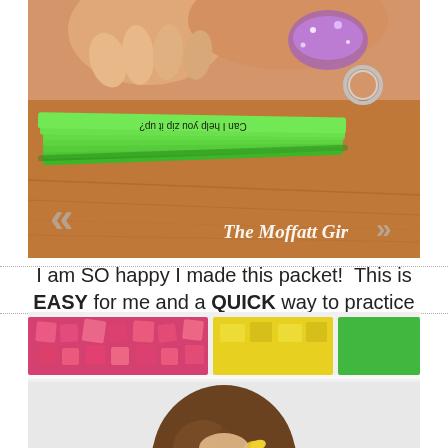[Figure (photo): Close-up photo of a child's hands holding a stack of bright green flash cards/strips on a wooden table. The green cards have text printed on them (readable upside-down: 'Can I help you zip it up?'). A binder ring is visible. Watermark shows '« The Moffatt Girls »' at the bottom.]
I am SO happy I made this packet!  This is EASY for me and a QUICK way to practice fluency!
[Figure (photo): Photo of a young child (seen from behind/side, brown hair with a clip) in a classroom setting with colorful bulletin board decorations in the background.]